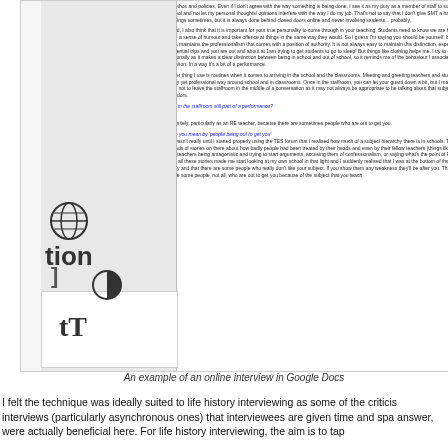[Figure (screenshot): Screenshot of an online interview conducted in Google Docs, showing a conversation with questions in blue italic text and answers in black, alongside the Google Docs accessibility toolbar on the left side showing globe, contrast, and text size icons.]
An example of an online interview in Google Docs
I felt the technique was ideally suited to life history interviewing as some of the criticisms of online interviews (particularly asynchronous ones) that interviewees are given time and space to answer, were actually beneficial here. For life history interviewing, the aim is to tap...